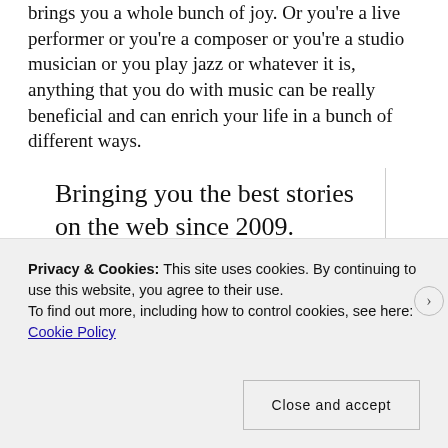brings you a whole bunch of joy. Or you're a live performer or you're a composer or you're a studio musician or you play jazz or whatever it is, anything that you do with music can be really beneficial and can enrich your life in a bunch of different ways.
Bringing you the best stories on the web since 2009.
Start reading
Privacy & Cookies: This site uses cookies. By continuing to use this website, you agree to their use.
To find out more, including how to control cookies, see here: Cookie Policy
Close and accept